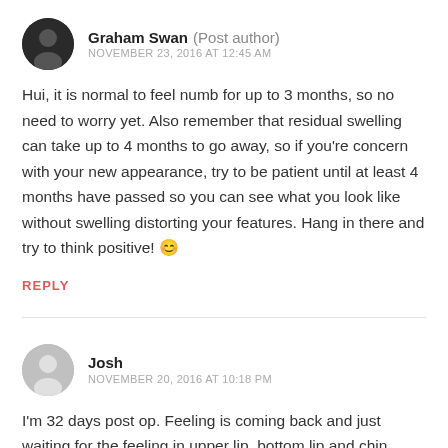Graham Swan (Post author)
NOVEMBER 23, 2016 AT 12:45 AM
Hui, it is normal to feel numb for up to 3 months, so no need to worry yet. Also remember that residual swelling can take up to 4 months to go away, so if you're concern with your new appearance, try to be patient until at least 4 months have passed so you can see what you look like without swelling distorting your features. Hang in there and try to think positive! 😊
REPLY
Josh
NOVEMBER 20, 2016 AT 10:18 PM
I'm 32 days post op. Feeling is coming back and just waiting for the feeling in upper lip, bottom lip and chin.